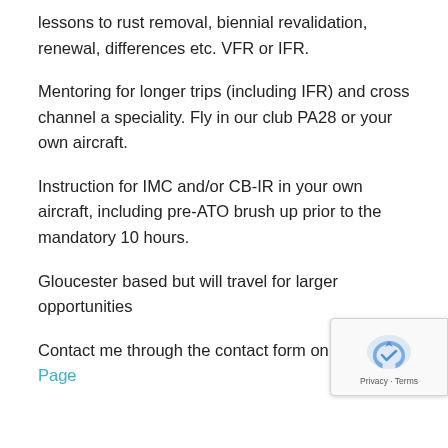lessons to rust removal, biennial revalidation, renewal, differences etc. VFR or IFR.
Mentoring for longer trips (including IFR) and cross channel a speciality. Fly in our club PA28 or your own aircraft.
Instruction for IMC and/or CB-IR in your own aircraft, including pre-ATO brush up prior to the mandatory 10 hours.
Gloucester based but will travel for larger opportunities
Contact me through the contact form on the Con… Page